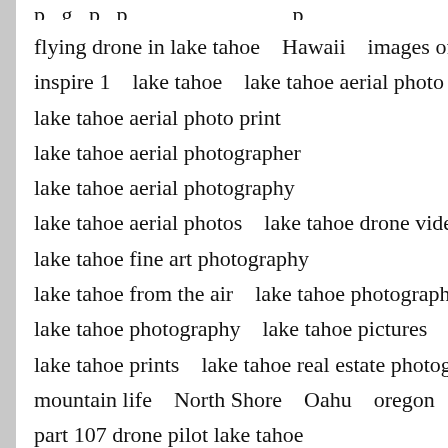flying drone in lake tahoe   Hawaii   images of tahoe
inspire 1   lake tahoe   lake tahoe aerial photo
lake tahoe aerial photo print
lake tahoe aerial photographer
lake tahoe aerial photography
lake tahoe aerial photos   lake tahoe drone video
lake tahoe fine art photography
lake tahoe from the air   lake tahoe photographers
lake tahoe photography   lake tahoe pictures
lake tahoe prints   lake tahoe real estate photographer
mountain life   North Shore   Oahu   oregon
part 107 drone pilot lake tahoe
photo of lake tahoe from the air
photos of lake tahoe   photos of tahoe
pictures of lake tahoe